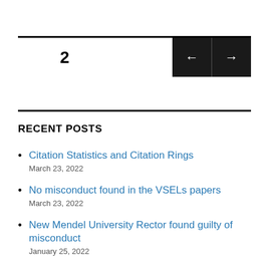2
RECENT POSTS
Citation Statistics and Citation Rings
March 23, 2022
No misconduct found in the VSELs papers
March 23, 2022
New Mendel University Rector found guilty of misconduct
January 25, 2022